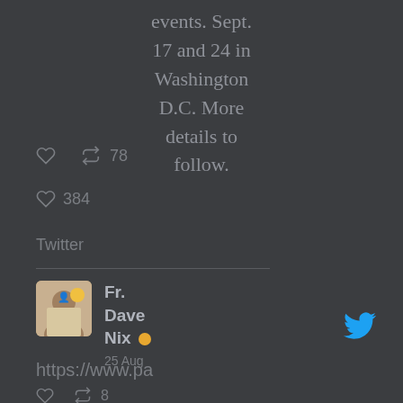events. Sept. 17 and 24 in Washington D.C. More details to follow.
🔁 78
♡ 384
Twitter
[Figure (photo): Profile photo of Fr. Dave Nix]
Fr. Dave Nix 🟠
25 Aug
[Figure (logo): Twitter bird logo in blue]
https://www.pa
♡ 🔁 8